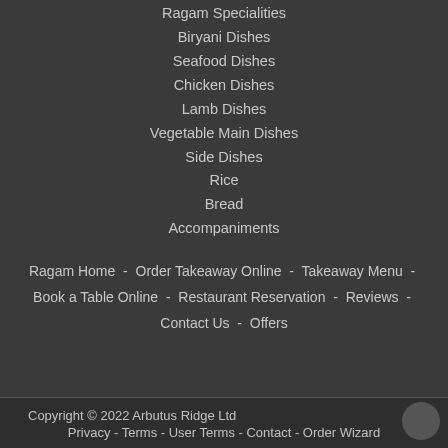Ragam Specialities
Biryani Dishes
Seafood Dishes
Chicken Dishes
Lamb Dishes
Vegetable Main Dishes
Side Dishes
Rice
Bread
Accompaniments
Ragam Home - Order Takeaway Online - Takeaway Menu - Book a Table Online - Restaurant Reservation - Reviews - Contact Us - Offers
Copyright © 2022 Arbutus Ridge Ltd Privacy - Terms - User Terms - Contact - Order Wizard